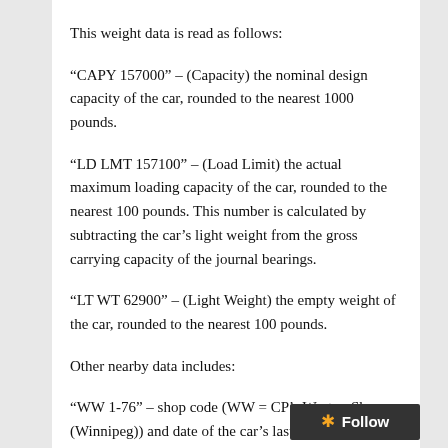This weight data is read as follows:
“CAPY 157000” – (Capacity) the nominal design capacity of the car, rounded to the nearest 1000 pounds.
“LD LMT 157100” – (Load Limit) the actual maximum loading capacity of the car, rounded to the nearest 100 pounds. This number is calculated by subtracting the car’s light weight from the gross carrying capacity of the journal bearings.
“LT WT 62900” – (Light Weight) the empty weight of the car, rounded to the nearest 100 pounds.
Other nearby data includes:
“WW 1-76” – shop code (WW = CP’s Weston Shops (Winnipeg)) and date of the car’s last reweighing. This is also a key indicator of a car’s era. The initial weighing date for cars from the factory will be stencilled with “N